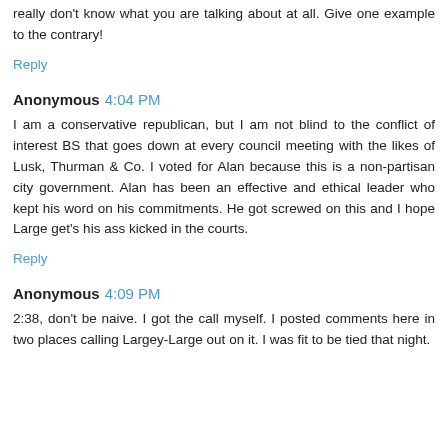really don't know what you are talking about at all. Give one example to the contrary!
Reply
Anonymous 4:04 PM
I am a conservative republican, but I am not blind to the conflict of interest BS that goes down at every council meeting with the likes of Lusk, Thurman & Co. I voted for Alan because this is a non-partisan city government. Alan has been an effective and ethical leader who kept his word on his commitments. He got screwed on this and I hope Large get's his ass kicked in the courts.
Reply
Anonymous 4:09 PM
2:38, don't be naive. I got the call myself. I posted comments here in two places calling Largey-Large out on it. I was fit to be tied that night.